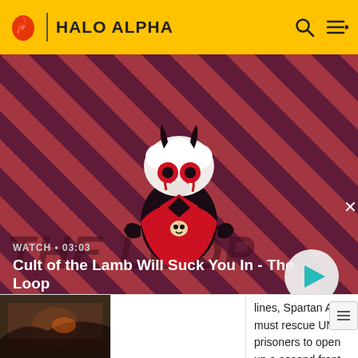HALO ALPHA
[Figure (screenshot): Video thumbnail for 'Cult of the Lamb Will Suck You In - The Loop' with WATCH • 03:03 label and play button. Striped dark red/purple background with a cartoon lamb character.]
WATCH • 03:03
Cult of the Lamb Will Suck You In - The Loop
| Thumbnail | Title | Description |
| --- | --- | --- |
| [image] |  | lines, Spartan Alice must rescue UNSC prisoners to open up a second front in the war against the Banished. |
| [image] | The | Professor Anders and |